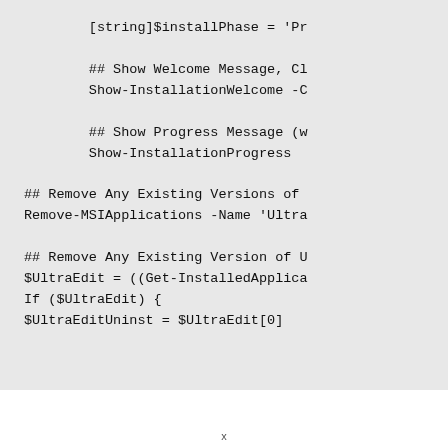[string]$installPhase = 'Pr

## Show Welcome Message, Cl
Show-InstallationWelcome -C

## Show Progress Message (w
Show-InstallationProgress

## Remove Any Existing Versions of
Remove-MSIApplications -Name 'Ultra

## Remove Any Existing Version of U
$UltraEdit = ((Get-InstalledApplica
If ($UltraEdit) {
$UltraEditUninst = $UltraEdit[0]
x